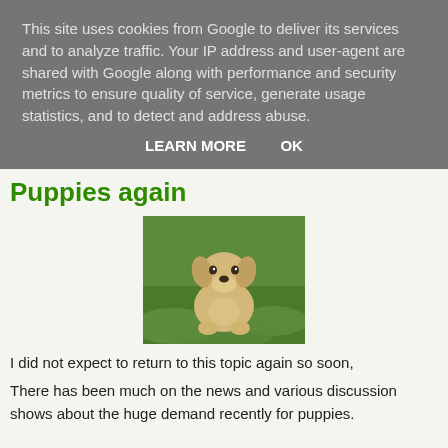This site uses cookies from Google to deliver its services and to analyze traffic. Your IP address and user-agent are shared with Google along with performance and security metrics to ensure quality of service, generate usage statistics, and to detect and address abuse.
LEARN MORE   OK
Puppies again
[Figure (photo): A yellow Labrador puppy sitting on green grass, facing the camera]
I did not expect to return to this topic again so soon,
There has been much on the news and various discussion shows about the huge demand recently for puppies.